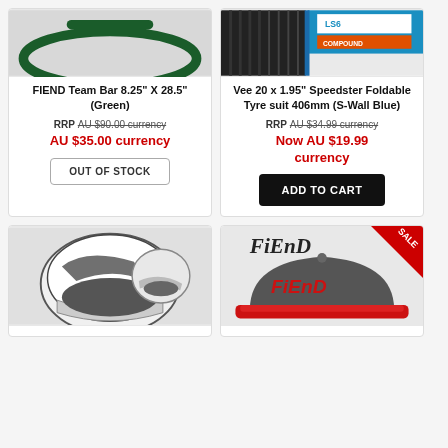[Figure (photo): FIEND Team Bar 8.25 X 28.5 Green handle bar product photo]
FIEND Team Bar 8.25" X 28.5" (Green)
RRP AU $90.00 currency
AU $35.00 currency
OUT OF STOCK
[Figure (photo): Vee 20 x 1.95 Speedster Foldable Tyre suit 406mm S-Wall Blue product photo]
Vee 20 x 1.95" Speedster Foldable Tyre suit 406mm (S-Wall Blue)
RRP AU $34.99 currency
Now AU $19.99 currency
ADD TO CART
[Figure (photo): BMX helmet product photo showing white and black helmet]
[Figure (photo): Fiend snapback cap product photo with SALE badge, dark grey with red brim and FIEND logo]